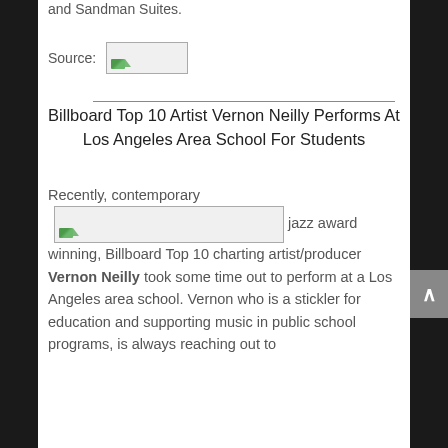and Sandman Suites.
Source: [image]
Billboard Top 10 Artist Vernon Neilly Performs At Los Angeles Area School For Students
Recently, contemporary jazz award winning, Billboard Top 10 charting artist/producer Vernon Neilly took some time out to perform at a Los Angeles area school. Vernon who is a stickler for education and supporting music in public school programs, is always reaching out to